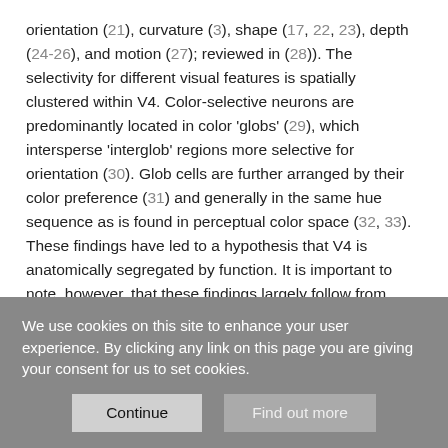orientation (21), curvature (3), shape (17, 22, 23), depth (24-26), and motion (27); reviewed in (28)). The selectivity for different visual features is spatially clustered within V4. Color-selective neurons are predominantly located in color 'globs' (29), which intersperse 'interglob' regions more selective for orientation (30). Glob cells are further arranged by their color preference (31) and generally in the same hue sequence as is found in perceptual color space (32, 33). These findings have led to a hypothesis that V4 is anatomically segregated by function. It is important to note, however, that these findings largely follow from experiments in which the stimuli were colored gratings, oriented colored bars, or other single shapes. Our knowledge of color tuning in V4, and of
We use cookies on this site to enhance your user experience. By clicking any link on this page you are giving your consent for us to set cookies.